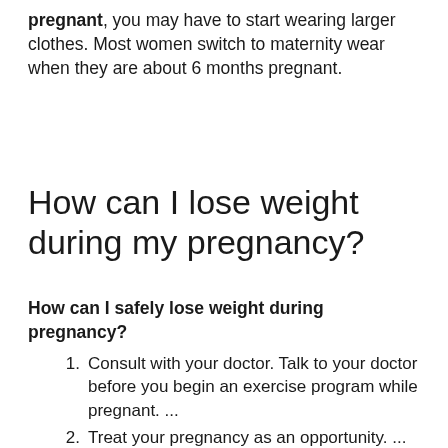pregnant, you may have to start wearing larger clothes. Most women switch to maternity wear when they are about 6 months pregnant.
How can I lose weight during my pregnancy?
How can I safely lose weight during pregnancy?
Consult with your doctor. Talk to your doctor before you begin an exercise program while pregnant. ...
Treat your pregnancy as an opportunity. ...
Start slowly. ...